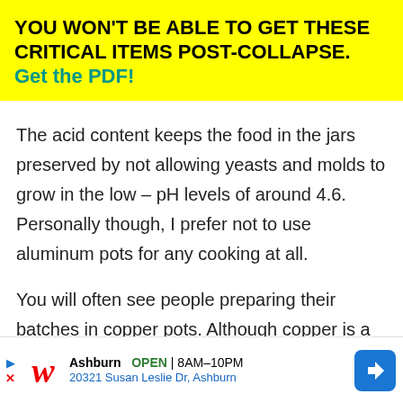YOU WON'T BE ABLE TO GET THESE CRITICAL ITEMS POST-COLLAPSE. Get the PDF!
The acid content keeps the food in the jars preserved by not allowing yeasts and molds to grow in the low – pH levels of around 4.6. Personally though, I prefer not to use aluminum pots for any cooking at all.
You will often see people preparing their batches in copper pots. Although copper is a reactive metal
[Figure (other): Walgreens advertisement banner showing Ashburn location OPEN 8AM-10PM at 20321 Susan Leslie Dr, Ashburn with navigation arrow icon]